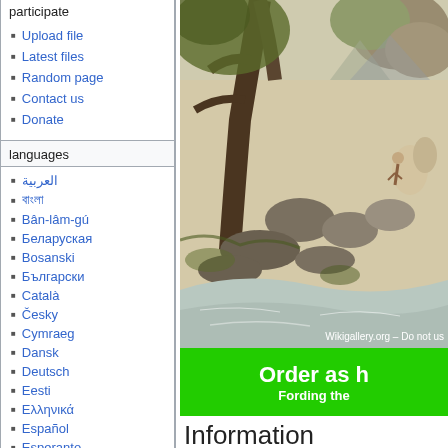Upload file
Latest files
Random page
Contact us
Donate
languages
العربية
বাংলা
Bân-lâm-gú
Беларуская
Bosanski
Български
Català
Česky
Cymraeg
Dansk
Deutsch
Eesti
Ελληνικά
Español
Esperanto
Euskara
فارسی
Français
[Figure (illustration): Landscape painting showing a rocky mountain stream with large boulders, gnarled trees, and figures with a pack animal crossing a ford. Watermark: Wikigallery.org - Do not use]
Order as h
Fording the
Information